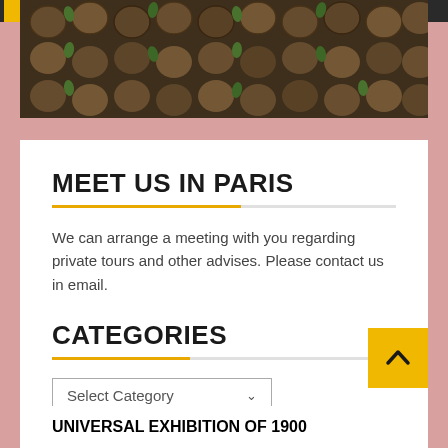[Figure (photo): Aerial or close-up view of round objects (pebbles, nuts, or similar items) with small green plants among them, dark brown coloring.]
MEET US IN PARIS
We can arrange a meeting with you regarding private tours and other advises. Please contact us in email.
CATEGORIES
Select Category
UNIVERSAL EXHIBITION OF 1900